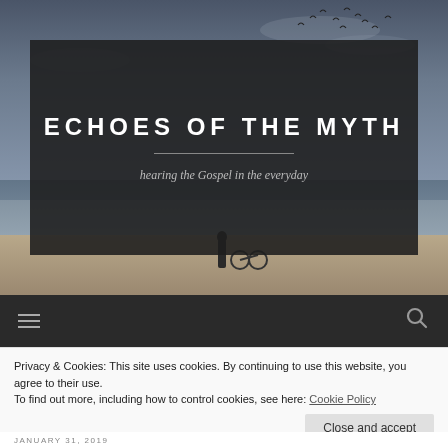[Figure (photo): Website header hero image: dark moody beach/ocean scene with birds in a cloudy sky. Silhouette of a person at water's edge. Dark semi-transparent overlay box containing site title and tagline.]
ECHOES OF THE MYTH
hearing the Gospel in the everyday
[Figure (other): Navigation bar with hamburger menu icon on left and search icon on right, on dark background]
Privacy & Cookies: This site uses cookies. By continuing to use this website, you agree to their use.
To find out more, including how to control cookies, see here: Cookie Policy
Close and accept
JANUARY 31, 2019